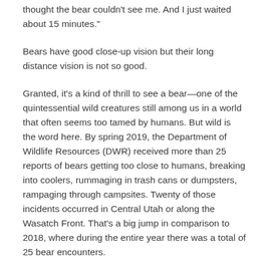thought the bear couldn't see me. And I just waited about 15 minutes."
Bears have good close-up vision but their long distance vision is not so good.
Granted, it's a kind of thrill to see a bear—one of the quintessential wild creatures still among us in a world that often seems too tamed by humans. But wild is the word here. By spring 2019, the Department of Wildlife Resources (DWR) received more than 25 reports of bears getting too close to humans, breaking into coolers, rummaging in trash cans or dumpsters, rampaging through campsites. Twenty of those incidents occurred in Central Utah or along the Wasatch Front. That's a big jump in comparison to 2018, where during the entire year there was a total of 25 bear encounters.
Also last summer, a family of mountain lions were caught on